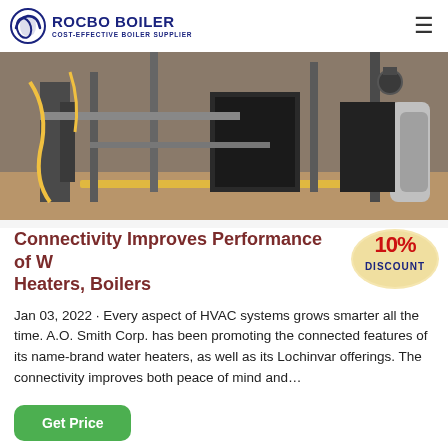ROCBO BOILER — COST-EFFECTIVE BOILER SUPPLIER
[Figure (photo): Industrial boiler room with pipes, cables, and equipment]
Connectivity Improves Performance of Water Heaters, Boilers
[Figure (illustration): 10% DISCOUNT badge/sticker]
Jan 03, 2022 · Every aspect of HVAC systems grows smarter all the time. A.O. Smith Corp. has been promoting the connected features of its name-brand water heaters, as well as its Lochinvar offerings. The connectivity improves both peace of mind and…
Get Price